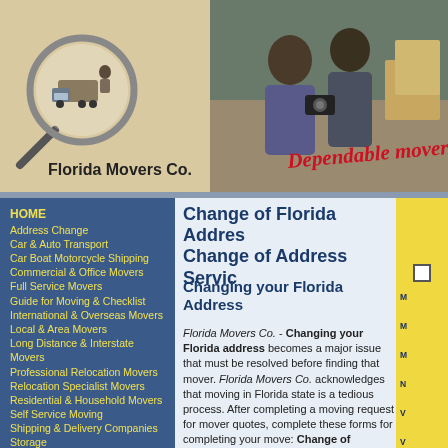[Figure (logo): Florida Movers Co. logo with magnifying glass icon over moving truck, on tan background]
[Figure (photo): Photo of two people looking at documents, with text 'Dependable mover' in red italic script]
Florida Movers Co.
HOME
Address Change
Car & Auto Transport
Car Boat Motorcycle Shipping
Commercial & Office Movers
Full Service Movers
Guide for Moving & Checklist
International & Overseas Movers
Local & Area Movers
Long Distance & Interstate Movers
Professional Relocation Movers
Relocation Specialist Movers
Residential & Household Movers
Self Service Moving
Shipping & Delivery Companies
Storage
Supplies
Truck Rental for Moving
Trucking & Vanlines
Site Map
Change of Florida Address Change of Address Service
Changing your Florida Address
Florida Movers Co. - Changing your Florida address becomes a major issue that must be resolved before finding that mover. Florida Movers Co. acknowledges that moving in Florida state is a tedious process. After completing a moving request for mover quotes, complete these forms for completing your move: Change of Address forms, or if you would simply like, just complete the post office change of address services. In addition to these services from Florida Movers Co., make sure you contact all your